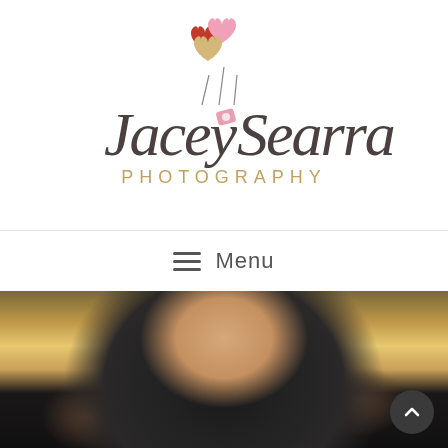[Figure (logo): Jacey Searra Photography logo with heart balloons and a camera icon, script font name with gold 'PHOTOGRAPHY' subtitle]
≡ Menu
[Figure (photo): Portrait photo of a smiling woman with shoulder-length blonde hair wearing a black sleeveless top, holding her hand up to her hair, outdoors with plants in background]